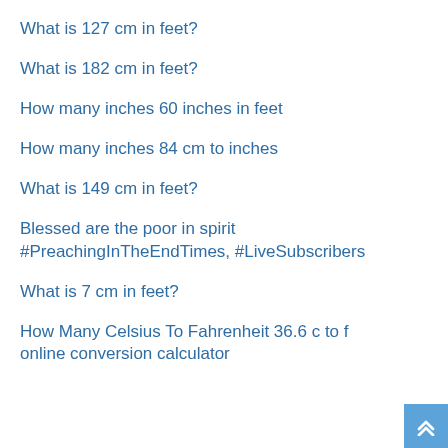What is 127 cm in feet?
What is 182 cm in feet?
How many inches 60 inches in feet
How many inches 84 cm to inches
What is 149 cm in feet?
Blessed are the poor in spirit #PreachingInTheEndTimes, #LiveSubscribers
What is 7 cm in feet?
How Many Celsius To Fahrenheit 36.6 c to f online conversion calculator